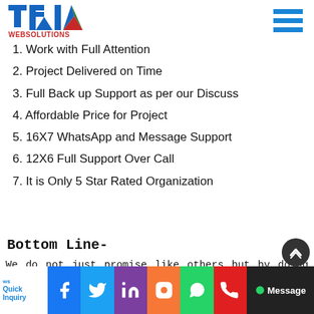[Figure (logo): TRIM WEBSOLUTIONS logo with blue and green triangular design]
1. Work with Full Attention
2. Project Delivered on Time
3. Full Back up Support as per our Discuss
4. Affordable Price for Project
5. 16X7 WhatsApp and Message Support
6. 12X6 Full Support Over Call
7. It is Only 5 Star Rated Organization
Bottom Line-
We do not just promise like others but by doing such work that none of our clients give less than 5 Star() ratting and this is our strong point which we say is different from others. You can check out our reviews on Google or with this link Read Our Google Revie ws
[Figure (infographic): Social media icon bar with Quick Inquiry, Facebook, Twitter, LinkedIn, Instagram, WhatsApp, Phone icons and Message button]